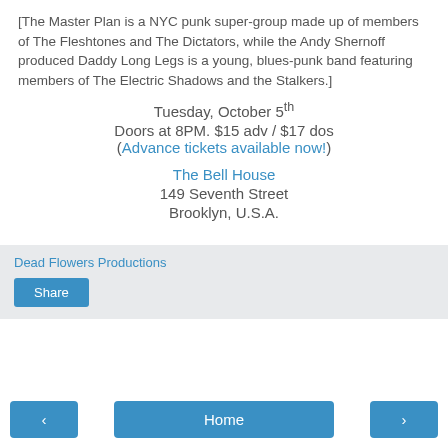[The Master Plan is a NYC punk super-group made up of members of The Fleshtones and The Dictators, while the Andy Shernoff produced Daddy Long Legs is a young, blues-punk band featuring members of The Electric Shadows and the Stalkers.]
Tuesday, October 5th
Doors at 8PM. $15 adv / $17 dos
(Advance tickets available now!)
The Bell House
149 Seventh Street
Brooklyn, U.S.A.
Dead Flowers Productions
Share
< | Home | >